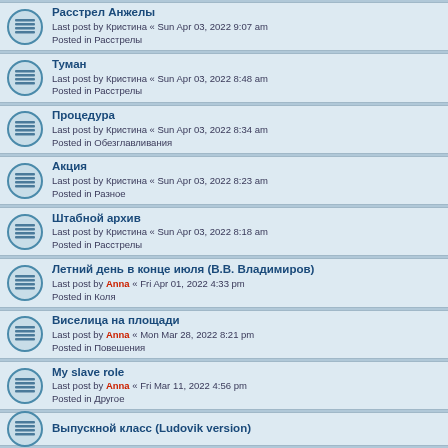Расстрел Анжелы
Last post by Кристина « Sun Apr 03, 2022 9:07 am
Posted in Расстрелы
Туман
Last post by Кристина « Sun Apr 03, 2022 8:48 am
Posted in Расстрелы
Процедура
Last post by Кристина « Sun Apr 03, 2022 8:34 am
Posted in Обезглавливания
Акция
Last post by Кристина « Sun Apr 03, 2022 8:23 am
Posted in Разное
Штабной архив
Last post by Кристина « Sun Apr 03, 2022 8:18 am
Posted in Расстрелы
Летний день в конце июля (В.В. Владимиров)
Last post by Anna « Fri Apr 01, 2022 4:33 pm
Posted in Коля
Виселица на площади
Last post by Anna « Mon Mar 28, 2022 8:21 pm
Posted in Повешения
My slave role
Last post by Anna « Fri Mar 11, 2022 4:56 pm
Posted in Другое
Выпускной класс (Ludovik version)